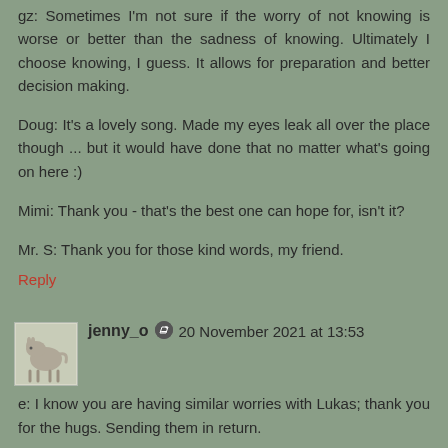gz: Sometimes I'm not sure if the worry of not knowing is worse or better than the sadness of knowing. Ultimately I choose knowing, I guess. It allows for preparation and better decision making.
Doug: It's a lovely song. Made my eyes leak all over the place though ... but it would have done that no matter what's going on here :)
Mimi: Thank you - that's the best one can hope for, isn't it?
Mr. S: Thank you for those kind words, my friend.
Reply
jenny_o 20 November 2021 at 13:53
e: I know you are having similar worries with Lukas; thank you for the hugs. Sending them in return.
Marie: Thank you; it's hard news to hear.
Diane: You're so right. Thank you.